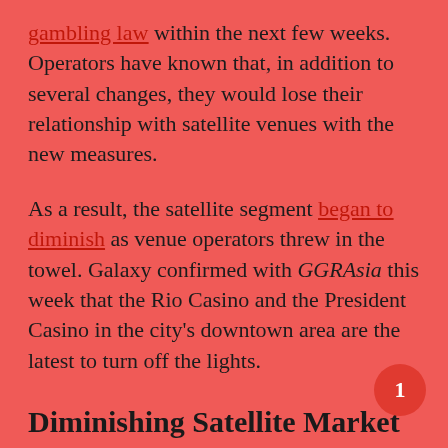gambling law within the next few weeks. Operators have known that, in addition to several changes, they would lose their relationship with satellite venues with the new measures.
As a result, the satellite segment began to diminish as venue operators threw in the towel. Galaxy confirmed with GGRAsia this week that the Rio Casino and the President Casino in the city's downtown area are the latest to turn off the lights.
Diminishing Satellite Market